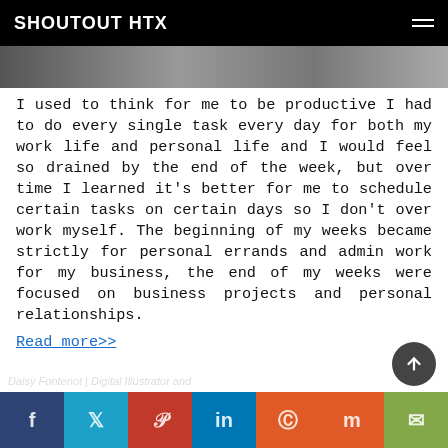SHOUTOUT HTX
[Figure (photo): Partial photo strip visible beneath header]
I used to think for me to be productive I had to do every single task every day for both my work life and personal life and I would feel so drained by the end of the week, but over time I learned it’s better for me to schedule certain tasks on certain days so I don’t over work myself. The beginning of my weeks became strictly for personal errands and admin work for my business, the end of my weeks were focused on business projects and personal relationships.
Read more>>
Daisy Fontenot | Digital Illustrator and